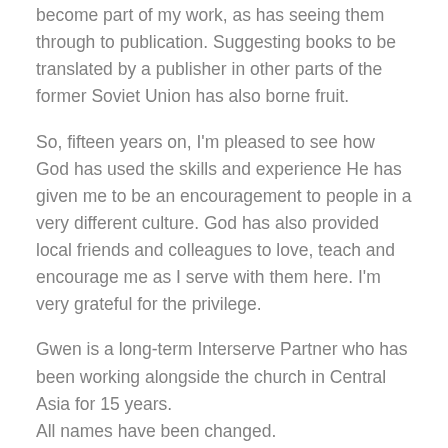become part of my work, as has seeing them through to publication. Suggesting books to be translated by a publisher in other parts of the former Soviet Union has also borne fruit.
So, fifteen years on, I'm pleased to see how God has used the skills and experience He has given me to be an encouragement to people in a very different culture. God has also provided local friends and colleagues to love, teach and encourage me as I serve with them here. I'm very grateful for the privilege.
Gwen is a long-term Interserve Partner who has been working alongside the church in Central Asia for 15 years.
All names have been changed.